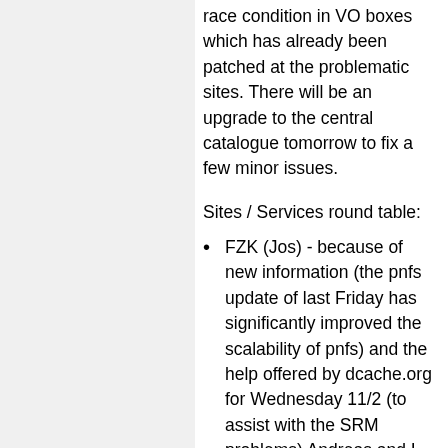race condition in VO boxes which has already been patched at the problematic sites. There will be an upgrade to the central catalogue tomorrow to fix a few minor issues.
Sites / Services round table:
FZK (Jos) - because of new information (the pnfs update of last Friday has significantly improved the scalability of pnfs) and the help offered by dcache.org for Wednesday 11/2 (to assist with the SRM problems) Andreas and I have decided to postpone the db shrink action to be done at